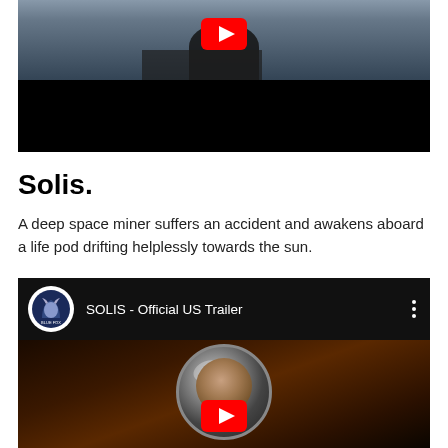[Figure (screenshot): YouTube video thumbnail showing a person in a cockpit, with a black lower area and a YouTube play button overlay]
Solis.
A deep space miner suffers an accident and awakens aboard a life pod drifting helplessly towards the sun.
[Figure (screenshot): YouTube embedded video player showing SOLIS - Official US Trailer by Blue Fox Entertainment channel, with a thumbnail of an astronaut in a helmet with play button overlay]